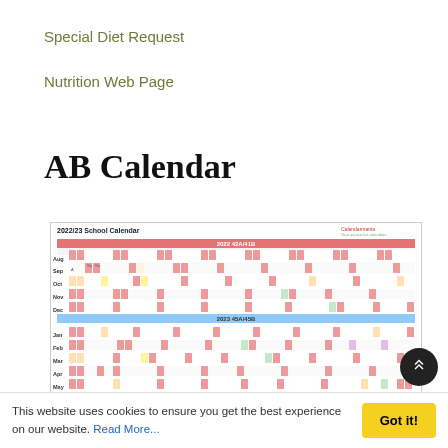Special Diet Request
Nutrition Web Page
AB Calendar
[Figure (other): 2022/23 School Calendar AB calendar grid showing months Aug through Jul with 42A/41B and 45A/45B designations, color-coded weekly cells for school schedule]
This website uses cookies to ensure you get the best experience on our website. Read More...